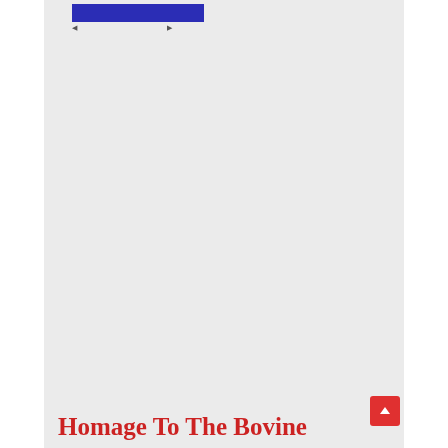[Figure (other): Blue navigation bar / header banner element at the top of the page content area]
Homage To The Bovine